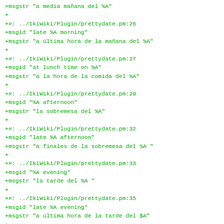+msgstr "a media mañana del %A"
+
+#: ../IkiWiki/Plugin/prettydate.pm:26
+msgid "late %A morning"
+msgstr "a última hora de la mañana del %A"
+
+#: ../IkiWiki/Plugin/prettydate.pm:27
+msgid "at lunch time on %A"
+msgstr "a la hora de la comida del %A"
+
+#: ../IkiWiki/Plugin/prettydate.pm:29
+msgid "%A afternoon"
+msgstr "la sobremesa del %A"
+
+#: ../IkiWiki/Plugin/prettydate.pm:32
+msgid "late %A afternoon"
+msgstr "a finales de la sobremesa del %A "
+
+#: ../IkiWiki/Plugin/prettydate.pm:33
+msgid "%A evening"
+msgstr "la tarde del %A "
+
+#: ../IkiWiki/Plugin/prettydate.pm:35
+msgid "late %A evening"
+msgstr "a última hora de la tarde del $A"
+
+#: ../IkiWiki/Plugin/prettydate.pm:37
+msgid "%A night"
+msgstr "la noche del %A"
+
+#: ../IkiWiki/Plugin/prettydate.pm:74
+msgid "at teatime on %A"
+msgstr "el %A a la hora del te"